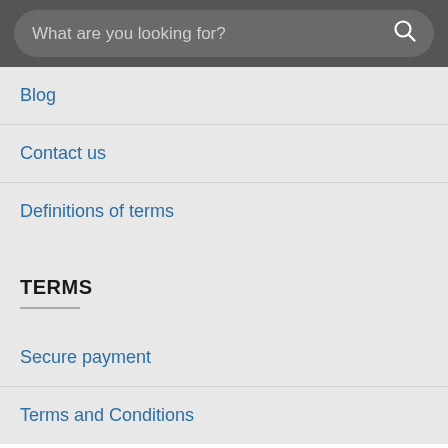What are you looking for?
Blog
Contact us
Definitions of terms
TERMS
Secure payment
Terms and Conditions
This site uses cookies to offer you a better browsing experience. By browsing this website, you agree to our use of cookies.
ACCEPT